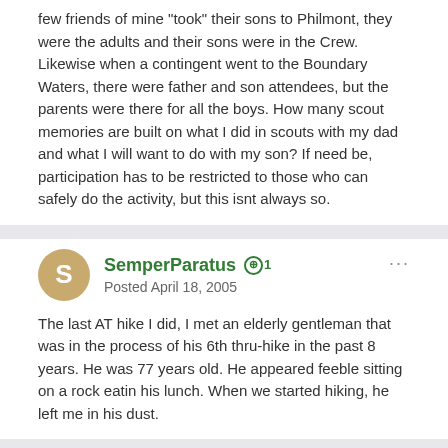few friends of mine "took" their sons to Philmont, they were the adults and their sons were in the Crew. Likewise when a contingent went to the Boundary Waters, there were father and son attendees, but the parents were there for all the boys. How many scout memories are built on what I did in scouts with my dad and what I will want to do with my son? If need be, participation has to be restricted to those who can safely do the activity, but this isnt always so.
SemperParatus +1
Posted April 18, 2005
The last AT hike I did, I met an elderly gentleman that was in the process of his 6th thru-hike in the past 8 years. He was 77 years old. He appeared feeble sitting on a rock eatin his lunch. When we started hiking, he left me in his dust.
cliffgolden +10